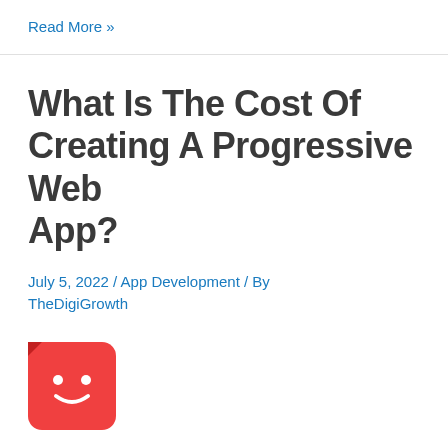Read More »
What Is The Cost Of Creating A Progressive Web App?
July 5, 2022 / App Development / By TheDigiGrowth
[Figure (logo): Red rounded square chatbot/smiley face logo icon]